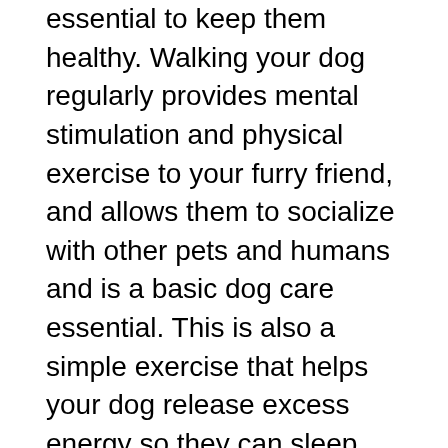essential to keep them healthy. Walking your dog regularly provides mental stimulation and physical exercise to your furry friend, and allows them to socialize with other pets and humans and is a basic dog care essential. This is also a simple exercise that helps your dog release excess energy so they can sleep well at night.
But, regardless of how beneficial walks are, you should never overdo it during the winter months. Excessive exposure to the cold weather can lead to serious health risks, such as frostbite and hypothermia.
If you're going to take your dog for a walk during winter, make sure to keep it short and do it more frequently during the day. If you're